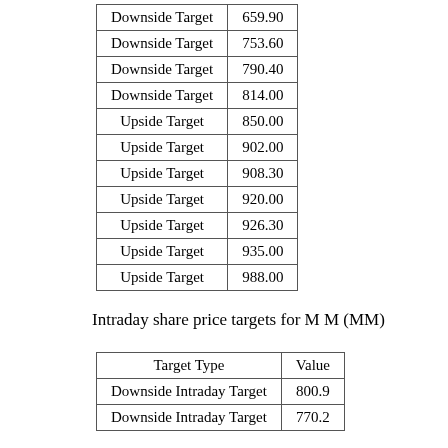| Target Type | Value |
| --- | --- |
| Downside Target | 659.90 |
| Downside Target | 753.60 |
| Downside Target | 790.40 |
| Downside Target | 814.00 |
| Upside Target | 850.00 |
| Upside Target | 902.00 |
| Upside Target | 908.30 |
| Upside Target | 920.00 |
| Upside Target | 926.30 |
| Upside Target | 935.00 |
| Upside Target | 988.00 |
Intraday share price targets for M M (MM)
| Target Type | Value |
| --- | --- |
| Downside Intraday Target | 800.9 |
| Downside Intraday Target | 770.2 |